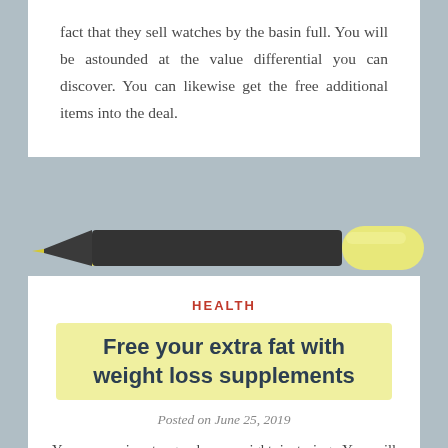fact that they sell watches by the basin full. You will be astounded at the value differential you can discover. You can likewise get the free additional items into the deal.
[Figure (illustration): A illustrated highlighter marker — dark charcoal body with a yellow-green cap, pointing left with the tip visible on the left side.]
HEALTH
Free your extra fat with weight loss supplements
Posted on June 25, 2019
Your excursion to go down weight is trying. You will surely think about a lot of challenges and furthermore